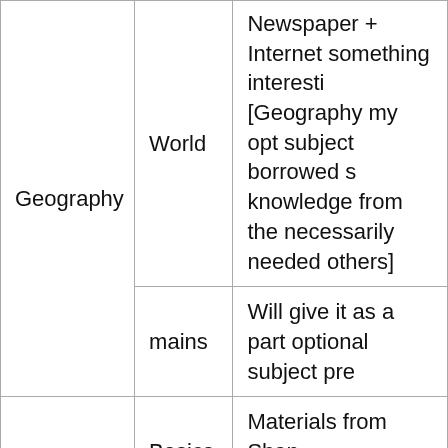| Subject | Topic | Resources |
| --- | --- | --- |
| Geography | World | Newspaper + Internet something interesting [Geography my optional subject borrowed some knowledge from the necessarily needed others] |
| Geography | mains | Will give it as a part optional subject pre |
| Environment, Biodiversity | Basics | Materials from Shan academy+Internet+ |
| Environment, Biodiversity | Current | Newspapers+ Internet+mrunal |